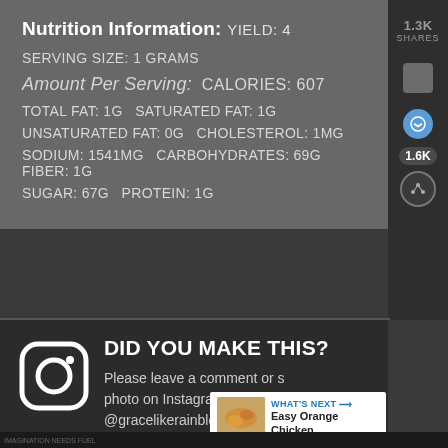Nutrition Information: YIELD: 4
SERVING SIZE: 1 grams
Amount Per Serving: CALORIES: 607
TOTAL FAT: 1g SATURATED FAT: 1g
UNSATURATED FAT: 0g CHOLESTEROL: 1mg
SODIUM: 1541mg CARBOHYDRATES: 69g FIBER: 1g
SUGAR: 67g PROTEIN: 1g
DID YOU MAKE THIS?
Please leave a comment or share a photo on Instagram and tag us @gracelikerainblog